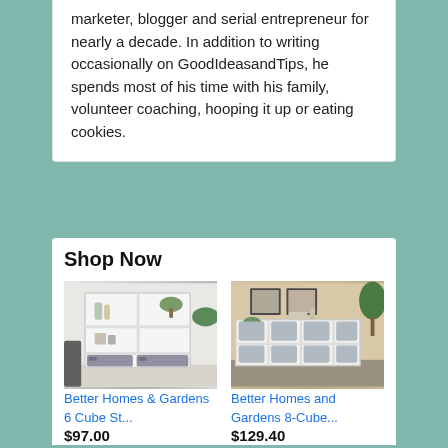marketer, blogger and serial entrepreneur for nearly a decade. In addition to writing occasionally on GoodIdeasandTips, he spends most of his time with his family, volunteer coaching, hooping it up or eating cookies.
Shop Now
[Figure (photo): White 6-cube storage shelf unit with grey fabric bins at the bottom and decorative items on shelves]
Better Homes & Gardens 6 Cube St...
$97.00
[Figure (photo): White 8-cube storage organizer with grey fabric bins, framed pictures and plant on top, in a room setting]
Better Homes and Gardens 8-Cube...
$129.40